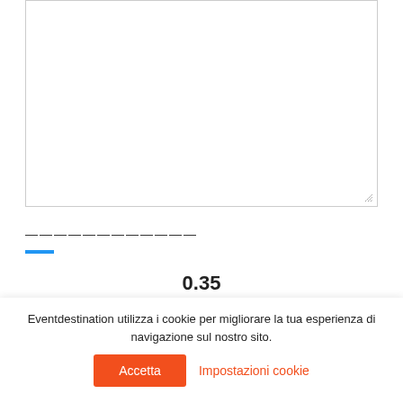[Figure (screenshot): Empty text area input box with resize handle at bottom right corner, bordered with light gray border]
————————————
0.35
Eventdestination utilizza i cookie per migliorare la tua esperienza di navigazione sul nostro sito.
Accetta
Impostazioni cookie